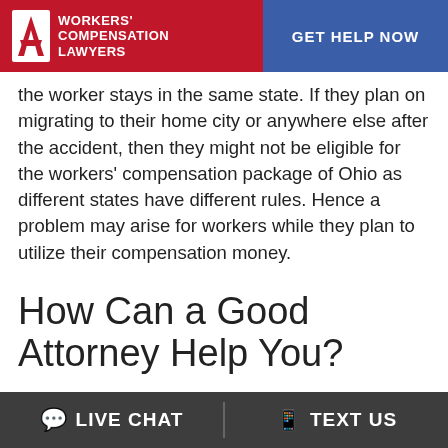WORKERS' COMPENSATION LAWYERS | GET HELP NOW
the worker stays in the same state. If they plan on migrating to their home city or anywhere else after the accident, then they might not be eligible for the workers' compensation package of Ohio as different states have different rules. Hence a problem may arise for workers while they plan to utilize their compensation money.
How Can a Good Attorney Help You?
LIVE CHAT | TEXT US